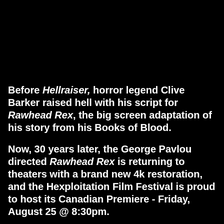Before Hellraiser, horror legend Clive Barker raised hell with his script for Rawhead Rex, the big screen adaptation of his story from his Books of Blood.
Now, 30 years later, the George Pavlou directed Rawhead Rex is returning to theaters with a brand new 4k restoration, and the Hexploitation Film Festival is proud to host its Canadian Premiere - Friday, August 25 @ 8:30pm.